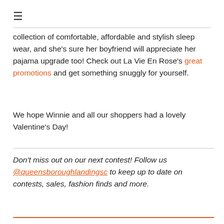≡
collection of comfortable, affordable and stylish sleep wear, and she's sure her boyfriend will appreciate her pajama upgrade too! Check out La Vie En Rose's great promotions and get something snuggly for yourself.
We hope Winnie and all our shoppers had a lovely Valentine's Day!
Don't miss out on our next contest! Follow us @queensboroughlandingsc to keep up to date on contests, sales, fashion finds and more.